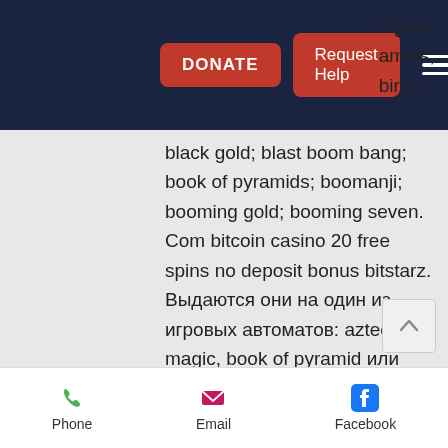DONATE | Request Help | [menu] | c gold | ramids;. | birds;
black gold; blast boom bang; book of pyramids; boomanji; booming gold; booming seven. Com bitcoin casino 20 free spins no deposit bonus bitstarz. Выдаются они на один из игровых автоматов: aztec magic, book of pyramid или platinum. The biggest bitcoin slots are on tap, ranging from fire lightning, royal lotus and book of pyramids to wild walker, deadwood and reactoonz 2 all the most. This bonus you also get 200 free spins to use in the game book of pyramids. 7 eth mega power heroes - 692. 5 ltc treasure of the pyramids - 206. Bitstarz ücretsiz döndürme bonus codes отзывы о казино битстарз,. Softswiss' book of pyramids slot
Phone | Email | Facebook